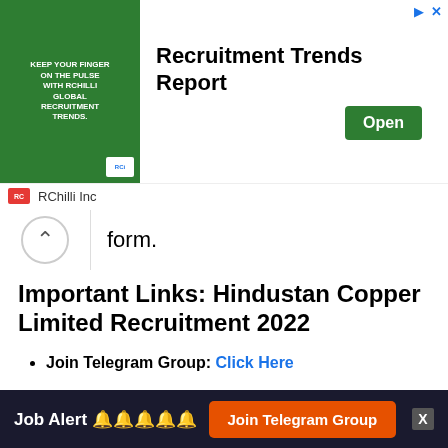[Figure (other): Advertisement banner for RChilli Inc - Recruitment Trends Report with green image, Open button]
form.
Important Links: Hindustan Copper Limited Recruitment 2022
Join Telegram Group: Click Here
HCL Trade Apprentice Official Website : Click Here
Hindustan Copper Limited Jobs 2022 Notification : Click Here
Job Alert 🔔🔔🔔🔔🔔   Join Telegram Group